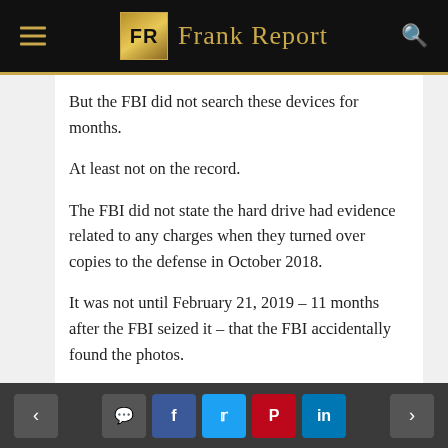Frank Report
But the FBI did not search these devices for months.
At least not on the record.
The FBI did not state the hard drive had evidence related to any charges when they turned over copies to the defense in October 2018.
It was not until February 21, 2019 – 11 months after the FBI seized it – that the FBI accidentally found the photos.
It may be fate. It may be coincidence. But it is odd. The odds against it being all accidental are high. The odds of seizing first… #1 and #2, the only two